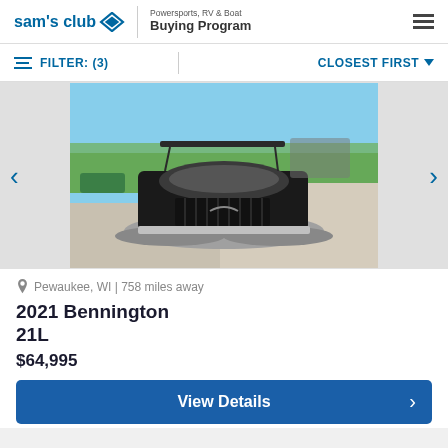sam's club | Powersports, RV & Boat Buying Program
FILTER: (3) | CLOSEST FIRST
[Figure (photo): A Bennington pontoon boat photographed from the rear at a marina/dealership. The boat is black and silver, parked on a paved surface with other boats and green trees visible in the background.]
Pewaukee, WI | 758 miles away
2021 Bennington 21L
$64,995
View Details